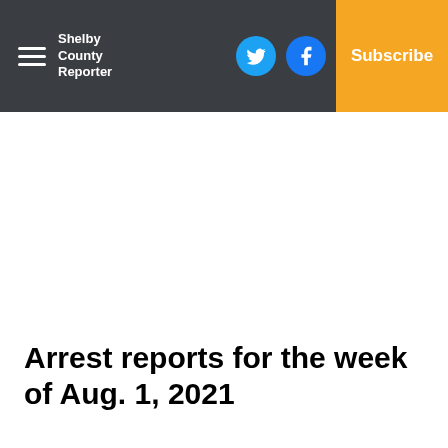Shelby County Reporter — Log In | Subscribe
Arrest reports for the week of Aug. 1, 2021